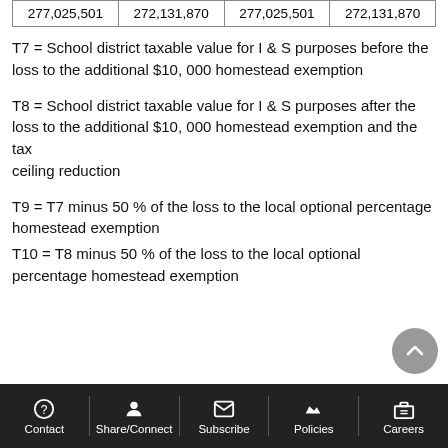| 277,025,501 | 272,131,870 | 277,025,501 | 272,131,870 |
T7 = School district taxable value for I & S purposes before the loss to the additional $10, 000 homestead exemption
T8 = School district taxable value for I & S purposes after the loss to the additional $10, 000 homestead exemption and the tax ceiling reduction
T9 = T7 minus 50 % of the loss to the local optional percentage homestead exemption
T10 = T8 minus 50 % of the loss to the local optional percentage homestead exemption
Contact | Share/Connect | Subscribe | Policies | Careers